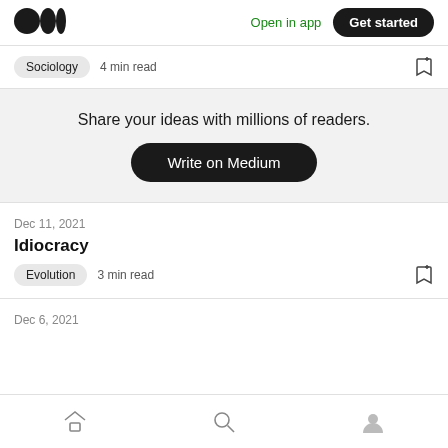[Figure (logo): Medium logo — three black circles/dots in a row]
Open in app
Get started
Sociology   4 min read
Share your ideas with millions of readers.
Write on Medium
Dec 11, 2021
Idiocracy
Evolution   3 min read
Dec 6, 2021